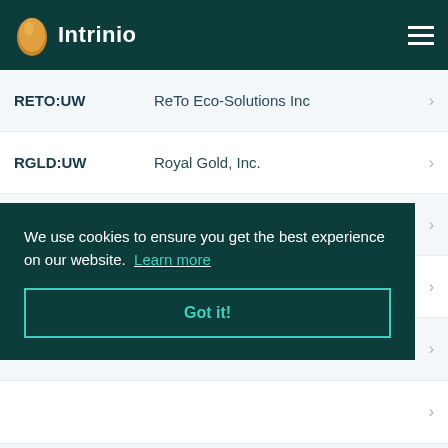Intrinio
RETO:UW  ReTo Eco-Solutions Inc
RGLD:UW  Royal Gold, Inc.
RIO:UN  Rio Tinto plc
ROCK:UW  Gibraltar Industries Inc.
We use cookies to ensure you get the best experience on our website.  Learn more
Got it!
SCCO:UN  Southern Copper Corporation